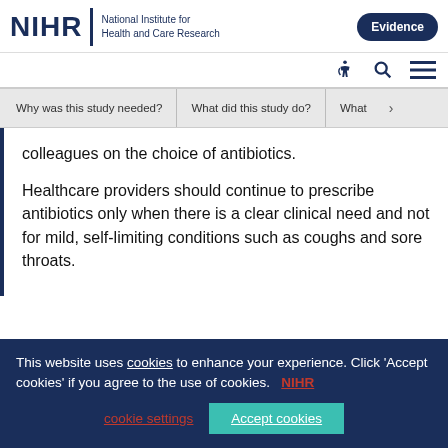NIHR | National Institute for Health and Care Research — Evidence
Why was this study needed? | What did this study do? | What...
colleagues on the choice of antibiotics.
Healthcare providers should continue to prescribe antibiotics only when there is a clear clinical need and not for mild, self-limiting conditions such as coughs and sore throats.
This website uses cookies to enhance your experience. Click 'Accept cookies' if you agree to the use of cookies. NIHR cookie settings   Accept cookies